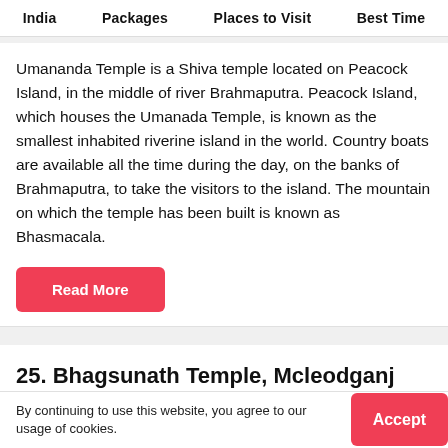India   Packages   Places to Visit   Best Time
Umananda Temple is a Shiva temple located on Peacock Island, in the middle of river Brahmaputra. Peacock Island, which houses the Umanada Temple, is known as the smallest inhabited riverine island in the world. Country boats are available all the time during the day, on the banks of Brahmaputra, to take the visitors to the island. The mountain on which the temple has been built is known as Bhasmacala.
Read More
25. Bhagsunath Temple, Mcleodganj
By continuing to use this website, you agree to our usage of cookies.